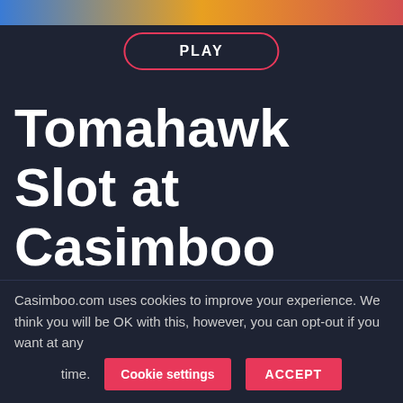[Figure (other): Top gradient banner in blue, orange, and red tones]
PLAY
Tomahawk Slot at Casimboo
If you are unfamiliar with the American Indian culture, it is likely that you do not know what tomahawks are. Basically, these are the old battle axes that were used by practically
Casimboo.com uses cookies to improve your experience. We think you will be OK with this, however, you can opt-out if you want at any time.
Cookie settings
ACCEPT